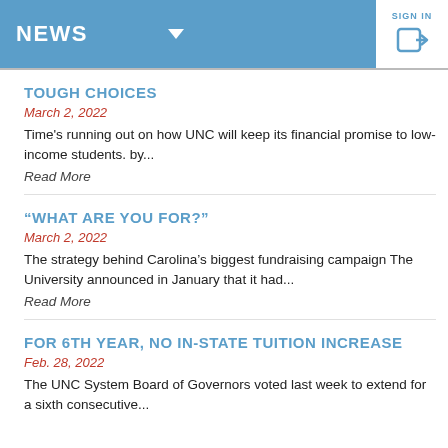NEWS
TOUGH CHOICES
March 2, 2022
Time's running out on how UNC will keep its financial promise to low-income students. by...
Read More
“WHAT ARE YOU FOR?”
March 2, 2022
The strategy behind Carolina’s biggest fundraising campaign The University announced in January that it had...
Read More
FOR 6TH YEAR, NO IN-STATE TUITION INCREASE
Feb. 28, 2022
The UNC System Board of Governors voted last week to extend for a sixth consecutive...